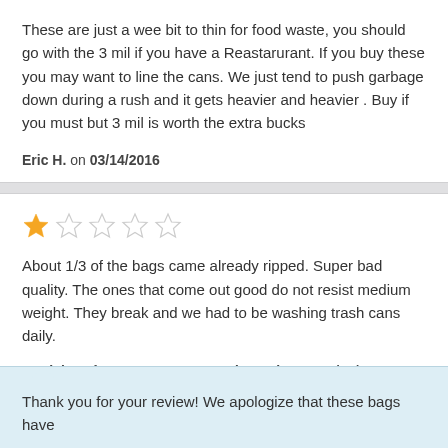These are just a wee bit to thin for food waste, you should go with the 3 mil if you have a Reastarurant. If you buy these you may want to line the cans. We just tend to push garbage down during a rush and it gets heavier and heavier . Buy if you must but 3 mil is worth the extra bucks
Eric H. on 03/14/2016
[Figure (other): 1 out of 5 stars rating (one filled gold star, four empty stars)]
About 1/3 of the bags came already ripped. Super bad quality. The ones that come out good do not resist medium weight. They break and we had to be washing trash cans daily.
Patricia L. from Tacos De Pescado Marlyn on 09/22/2015
Thank you for your review! We apologize that these bags have